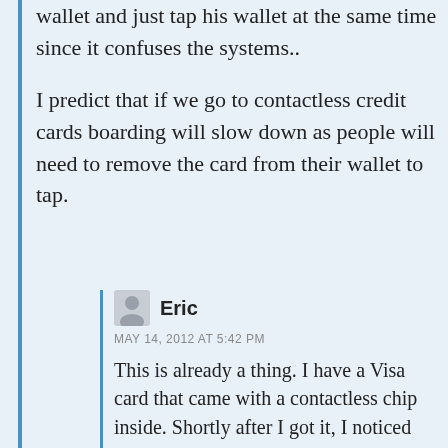wallet and just tap his wallet at the same time since it confuses the systems..
I predict that if we go to contactless credit cards boarding will slow down as people will need to remove the card from their wallet to tap.
Eric
MAY 14, 2012 AT 5:42 PM
This is already a thing. I have a Visa card that came with a contactless chip inside. Shortly after I got it, I noticed that I could no longer tap my wallet